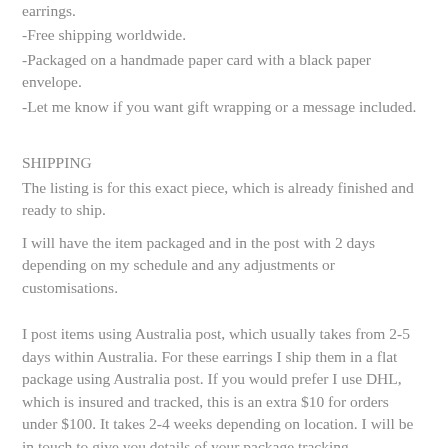earrings.
-Free shipping worldwide.
-Packaged on a handmade paper card with a black paper envelope.
-Let me know if you want gift wrapping or a message included.
SHIPPING
The listing is for this exact piece, which is already finished and ready to ship.
I will have the item packaged and in the post with 2 days depending on my schedule and any adjustments or customisations.
I post items using Australia post, which usually takes from 2-5 days within Australia. For these earrings I ship them in a flat package using Australia post. If you would prefer I use DHL, which is insured and tracked, this is an extra $10 for orders under $100. It takes 2-4 weeks depending on location. I will be in touch to give you details of your package tracking